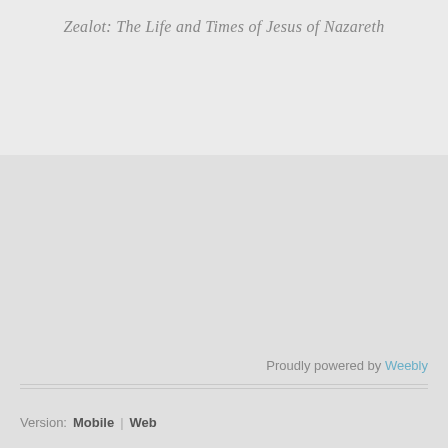Zealot: The Life and Times of Jesus of Nazareth
Proudly powered by Weebly
Version: Mobile | Web